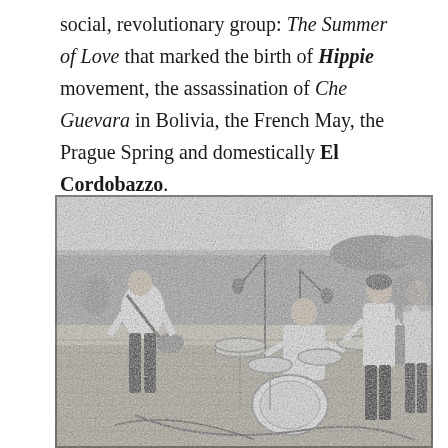social, revolutionary group: The Summer of Love that marked the birth of Hippie movement, the assassination of Che Guevara in Bolivia, the French May, the Prague Spring and domestically El Cordobazzo.
[Figure (photo): Black and white photograph of a rock band performing on an outdoor stage in front of a large crowd. A guitarist stands on the left with his back to the camera, a drummer sits at a drum kit in the center, and two more band members stand on the right side of the stage.]